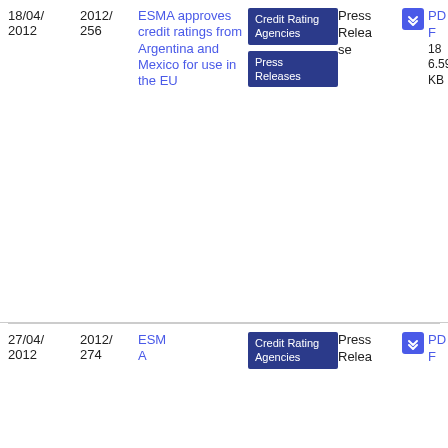| Date | Reference | Title | Tags | Type | Download |
| --- | --- | --- | --- | --- | --- |
| 18/04/2012 | 2012/256 | ESMA approves credit ratings from Argentina and Mexico for use in the EU | Credit Rating Agencies | Press Releases | Press Release | PDF 186.59 KB |
| 27/04/2012 | 2012/274 | ESMA A... | Credit Rating Agencies | Press Relea... | PDF |